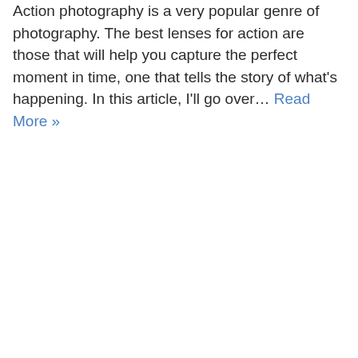Action photography is a very popular genre of photography. The best lenses for action are those that will help you capture the perfect moment in time, one that tells the story of what's happening. In this article, I'll go over… Read More »